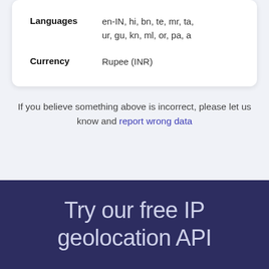| Property | Value |
| --- | --- |
| Languages | en-IN, hi, bn, te, mr, ta, ur, gu, kn, ml, or, pa, a |
| Currency | Rupee (INR) |
If you believe something above is incorrect, please let us know and report wrong data
Try our free IP geolocation API